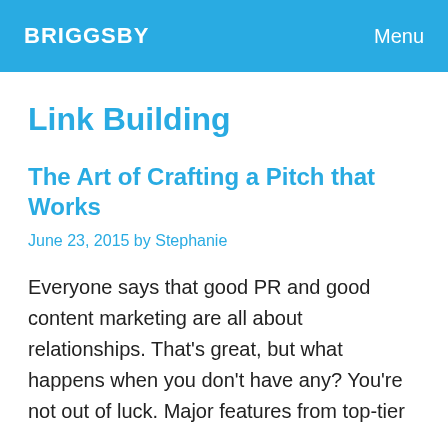BRIGGSBY  Menu
Link Building
The Art of Crafting a Pitch that Works
June 23, 2015 by Stephanie
Everyone says that good PR and good content marketing are all about relationships. That's great, but what happens when you don't have any? You're not out of luck. Major features from top-tier publishers are based on